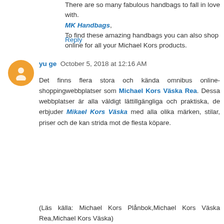There are so many fabulous handbags to fall in love with. MK Handbags, To find these amazing handbags you can also shop online for all your Michael Kors products.
Reply
yu ge  October 5, 2018 at 12:16 AM
Det finns flera stora och kända omnibus online-shoppingwebbplatser som Michael Kors Väska Rea. Dessa webbplatser är alla väldigt lättillgängliga och praktiska, de erbjuder Mikael Kors Väska med alla olika märken, stilar, priser och de kan strida mot de flesta köpare.
(Läs källa: Michael Kors Plånbok,Michael Kors Väska Rea,Michael Kors Väska)
För tjejer som vill ha speciella, ikoniska och högkvalitativa väskor från sina favoritdesigners, är det mest direkta och effektiva sättet att hitta den nyaste, hetaste och mest speciella designen på deras officiella webbplatser.